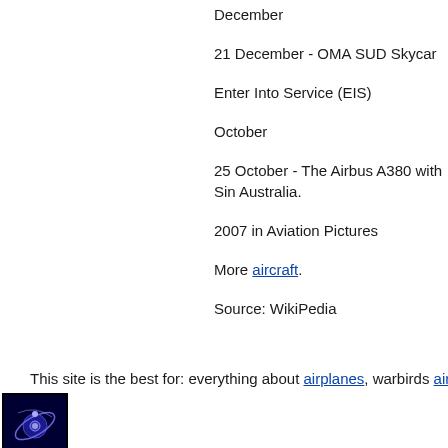December
21 December - OMA SUD Skycar
Enter Into Service (EIS)
October
25 October - The Airbus A380 with Sin Australia.
2007 in Aviation Pictures
More aircraft.
Source: WikiPedia
This site is the best for: everything about airplanes, warbirds aircraft, w
Copyright ◆ A
[Figure (logo): Small icon logo with a dark blue/black background and a planet/orbit symbol]